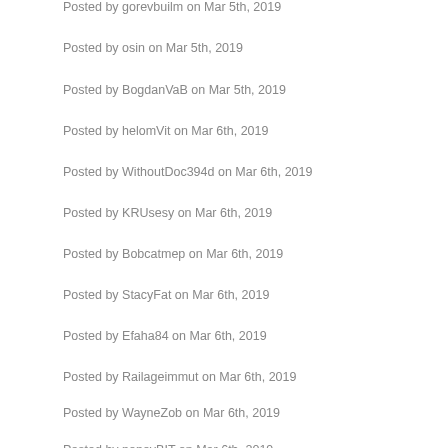Posted by gorevbuilm on Mar 5th, 2019
Posted by osin on Mar 5th, 2019
Posted by BogdanVaB on Mar 5th, 2019
Posted by helomVit on Mar 6th, 2019
Posted by WithoutDoc394d on Mar 6th, 2019
Posted by KRUsesy on Mar 6th, 2019
Posted by Bobcatmep on Mar 6th, 2019
Posted by StacyFat on Mar 6th, 2019
Posted by Efaha84 on Mar 6th, 2019
Posted by Railageimmut on Mar 6th, 2019
Posted by WayneZob on Mar 6th, 2019
Posted by popovBIT on Mar 6th, 2019